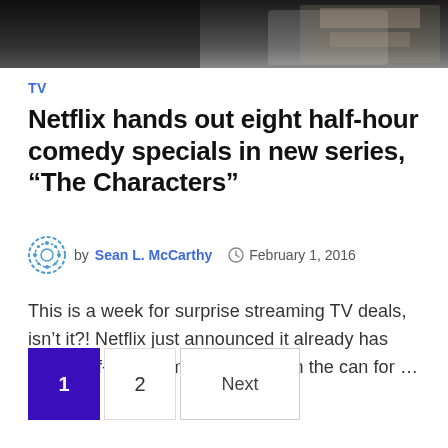[Figure (photo): Dark background photo strip at top of article page, partially showing people or scene]
TV
Netflix hands out eight half-hour comedy specials in new series, “The Characters”
by Sean L. McCarthy  February 1, 2016
This is a week for surprise streaming TV deals, isn’t it?! Netflix just announced it already has eight half-hour comedy specials in the can for …
1  2  Next